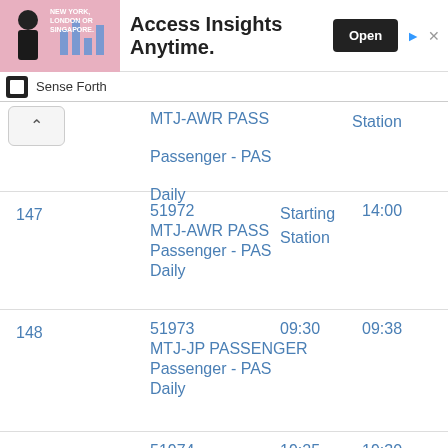[Figure (other): Advertisement banner: image of man with text 'NEW YORK, LONDON OR SINGAPORE.' and 'Access Insights Anytime.' with Open button]
Sense Forth
| # | Train | Station | Time |
| --- | --- | --- | --- |
|  | 51972 MTJ-AWR PASS Passenger - PAS Daily | Starting Station | 14:00 |
| 147 | 51972 MTJ-AWR PASS Passenger - PAS Daily | Starting Station | 14:00 |
| 148 | 51973 MTJ-JP PASSENGER Passenger - PAS Daily | 09:30 | 09:38 |
| 149 | 51974 JP-MTJ PASSENGER Passenger - PAS | 19:25 | 19:30 |